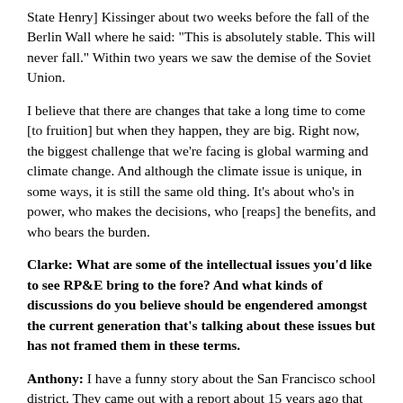State Henry] Kissinger about two weeks before the fall of the Berlin Wall where he said: “This is absolutely stable. This will never fall.” Within two years we saw the demise of the Soviet Union.
I believe that there are changes that take a long time to come [to fruition] but when they happen, they are big. Right now, the biggest challenge that we’re facing is global warming and climate change. And although the climate issue is unique, in some ways, it is still the same old thing. It’s about who’s in power, who makes the decisions, who [reaps] the benefits, and who bears the burden.
Clarke: What are some of the intellectual issues you’d like to see RP&E bring to the fore? And what kinds of discussions do you believe should be engendered amongst the current generation that’s talking about these issues but has not framed them in these terms.
Anthony: I have a funny story about the San Francisco school district. They came out with a report about 15 years ago that said. “Eighty-six percent of the population in the school district of San Francisco are minorities, and sixteen percent are the majority.”